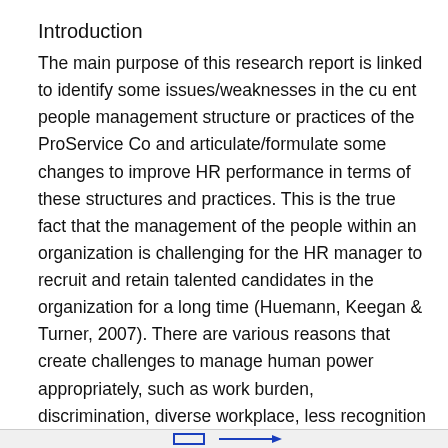Introduction
The main purpose of this research report is linked to identify some issues/weaknesses in the cu ent people management structure or practices of the ProService Co and articulate/formulate some changes to improve HR performance in terms of these structures and practices. This is the true fact that the management of the people within an organization is challenging for the HR manager to recruit and retain talented candidates in the organization for a long time (Huemann, Keegan & Turner, 2007). There are various reasons that create challenges to manage human power appropriately, such as work burden, discrimination, diverse workplace, less recognition for the good work, etc.
Therefore, Human Resource Management is known as one of the most significant activities within an organization in which it keeps intentions and plans to achieve business goals with the help of right candidates or people. HR